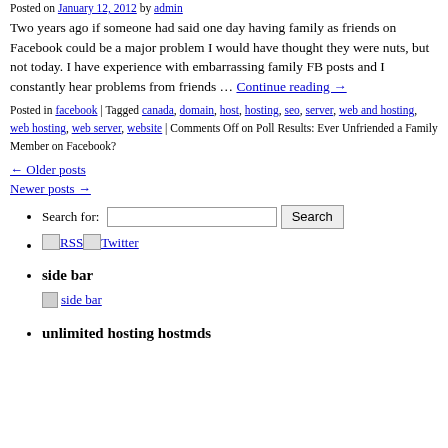Posted on January 12, 2012 by admin
Two years ago if someone had said one day having family as friends on Facebook could be a major problem I would have thought they were nuts, but not today. I have experience with embarrassing family FB posts and I constantly hear problems from friends … Continue reading →
Posted in facebook | Tagged canada, domain, host, hosting, seo, server, web and hosting, web hosting, web server, website | Comments Off on Poll Results: Ever Unfriended a Family Member on Facebook?
← Older posts
Newer posts →
Search for: [input] Search
RSS Twitter
side bar
unlimited hosting hostmds